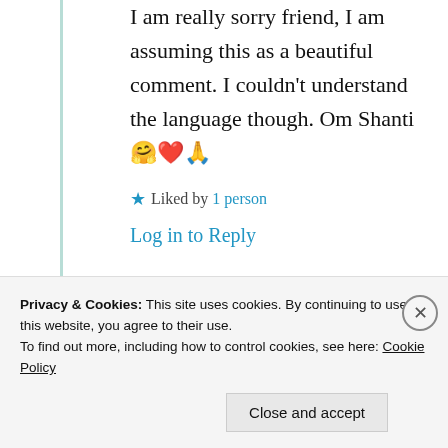I am really sorry friend, I am assuming this as a beautiful comment. I couldn't understand the language though. Om Shanti 🤗❤️🙏
★ Liked by 1 person
Log in to Reply
shivatje
Privacy & Cookies: This site uses cookies. By continuing to use this website, you agree to their use. To find out more, including how to control cookies, see here: Cookie Policy
Close and accept